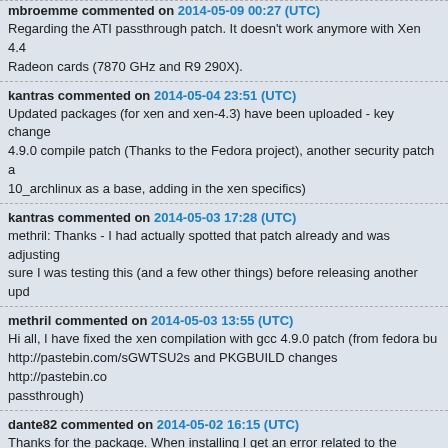mbroemme commented on 2014-05-09 00:27 (UTC)
Regarding the ATI passthrough patch. It doesn't work anymore with Xen 4.4 Radeon cards (7870 GHz and R9 290X).
kantras commented on 2014-05-04 23:51 (UTC)
Updated packages (for xen and xen-4.3) have been uploaded - key changes: 4.9.0 compile patch (Thanks to the Fedora project), another security patch and 10_archlinux as a base, adding in the xen specifics)
kantras commented on 2014-05-03 17:28 (UTC)
methril: Thanks - I had actually spotted that patch already and was adjusting it; I was sure I was testing this (and a few other things) before releasing another update.
methril commented on 2014-05-03 13:55 (UTC)
Hi all, I have fixed the xen compilation with gcc 4.9.0 patch (from fedora bugzilla): http://pastebin.com/sGWTSU2s and PKGBUILD changes http://pastebin.co passthrough)
dante82 commented on 2014-05-02 16:15 (UTC)
Thanks for the package. When installing I get an error related to the blktap2 package (the same error in the xen-4.3 package): gcc -O1 -fno-omit-frame-p aliasing -std=gnu99 -Wall -Wstrict-prototypes -Wdeclaration-after-statement -Wno-unused-local-typedefs -D__XEN_TOOLS__ -MMD -MF .block-qcow.o. D_LARGEFILE64_SOURCE -fno-optimize-sibling-calls -Werror -g -Wno-un